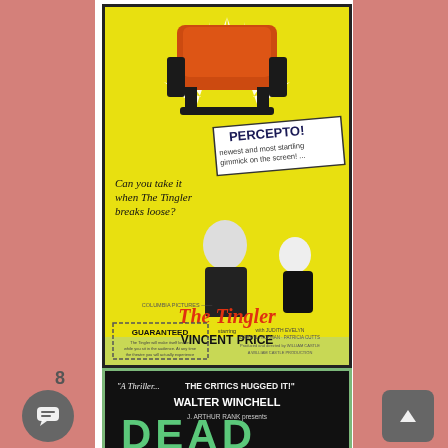[Figure (illustration): Movie poster for 'The Tingler' (1959) featuring Vincent Price. Yellow background with a red theater seat at top emitting star-burst rays. Text reads 'PERCEPTO! newest and most startling gimmick on the screen!' and 'Can you take it when The Tingler breaks loose?' with illustrations of a man and woman. Bottom section shows 'COLUMBIA PICTURES presents The Tingler starring VINCENT PRICE with JUDITH EVELYN, DARRYL HICKMAN, PATRICIA CUTTS. GUARANTEED' in a dashed box. A WILLIAM CASTLE PRODUCTION.]
[Figure (illustration): Partial movie poster with dark/black background. Text reads: 'A Thriller... THE CRITICS HUGGED IT!' - WALTER WINCHELL. J. ARTHUR RANK presents DEAD (title cut off). Green/teal large lettering for 'DEAD'.]
8